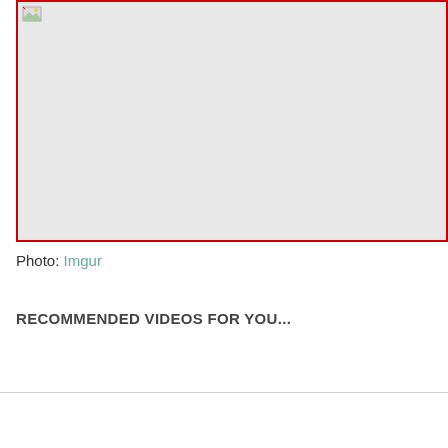[Figure (photo): Broken image placeholder with red border on light gray background]
Photo: Imgur
RECOMMENDED VIDEOS FOR YOU...